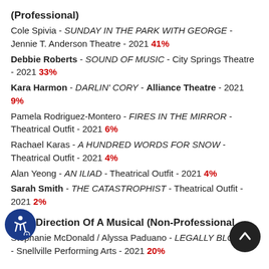(Professional)
Cole Spivia - SUNDAY IN THE PARK WITH GEORGE - Jennie T. Anderson Theatre - 2021 41%
Debbie Roberts - SOUND OF MUSIC - City Springs Theatre - 2021 33%
Kara Harmon - DARLIN' CORY - Alliance Theatre - 2021 9%
Pamela Rodriguez-Montero - FIRES IN THE MIRROR - Theatrical Outfit - 2021 6%
Rachael Karas - A HUNDRED WORDS FOR SNOW - Theatrical Outfit - 2021 4%
Alan Yeong - AN ILIAD - Theatrical Outfit - 2021 4%
Sarah Smith - THE CATASTROPHIST - Theatrical Outfit - 2021 2%
Best Direction Of A Musical (Non-Professional)
Stephanie McDonald / Alyssa Paduano - LEGALLY BLONDE - Snellville Performing Arts - 2021 20%